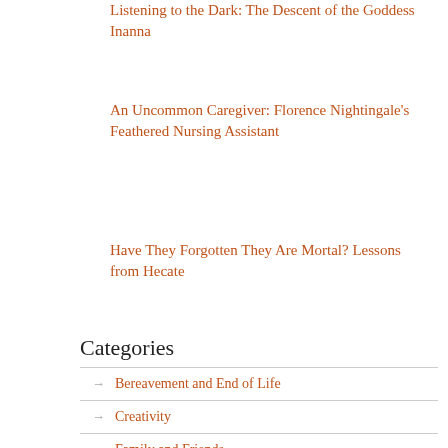Listening to the Dark: The Descent of the Goddess Inanna
An Uncommon Caregiver: Florence Nightingale's Feathered Nursing Assistant
Have They Forgotten They Are Mortal? Lessons from Hecate
Categories
Bereavement and End of Life
Creativity
Family and Friends
Health